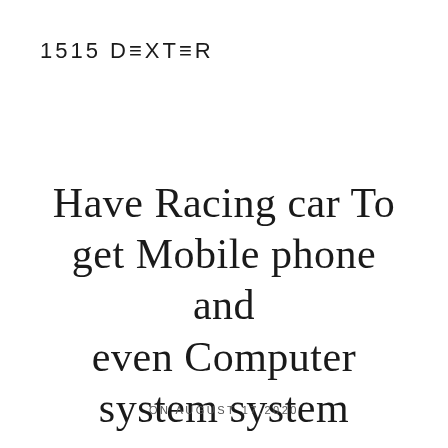1515 DEXTER
Have Racing car To get Mobile phone and even Computer system system
ON AUGUST 17,2020